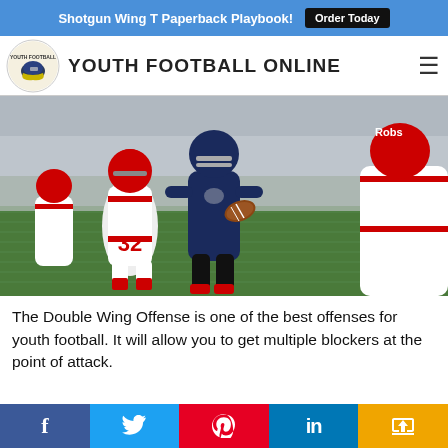Shotgun Wing T Paperback Playbook! Order Today
YOUTH FOOTBALL ONLINE
[Figure (photo): Football player in dark navy uniform carrying the ball while opposing players in white/red #32 uniforms attempt to tackle on a grass field.]
The Double Wing Offense is one of the best offenses for youth football. It will allow you to get multiple blockers at the point of attack.
f  [twitter bird]  [pinterest P]  in  [share icon]